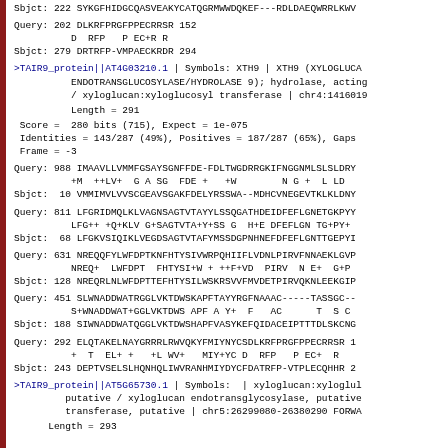Sbjct: 222 SYKGFHIDGCQASVEAKYCATQGRMWWDQKEF---RDLDAEQWRRLKWV
Query: 202 DLKRFPRGFPPECRRSR 152
         D  RFP   P EC+R R
Sbjct: 279 DRTRFP-VMPAECKRDR 294
>TAIR9_protein||AT4G03210.1 | Symbols: XTH9 | XTH9 (XYLOGLUCA
         ENDOTRANSGLUCOSYLASE/HYDROLASE 9); hydrolase, acting
         / xyloglucan:xyloglucosyl transferase | chr4:1416019
Length = 291
Score =  280 bits (715), Expect = 1e-075
 Identities = 143/287 (49%), Positives = 187/287 (65%), Gaps
 Frame = -3
Query: 988 IMAAVLLVMMFGSAYSGNFFDE-FDLTWGDRRGKIFNGGNMLSLSLDRY
          +M  ++LV+  G A SG  FDE +   +W        N G +  L LD 
Sbjct:  10 VMMIMVLVVSCGEAVSGAKFDELYRSSWA--MDHCVNEGEVTKLKLDNY
Query: 811 LFGRIDMQLKLVAGNSAGTVTAYYLSSQGATHDEIDFEFLGNETGKPYV
          LFG++ +Q+KLV G+SAGTVTA+Y+SS G  H+E DFEFLGN TG+PY+
Sbjct:  68 LFGKVSIQIKLVEGDSAGTVTAFYMSSDGPNHNEFDFEFLGNTTGEPYI
Query: 631 NREQQFYLWFDPTKNFHTYSIVWRPQHIIFLVDNLPIRVFNNAEKLGVP
          NREQ+  LWFDPT  FHTYSI+W + ++F+VD  PIRV  N E+  G+P
Sbjct: 128 NREQRLNLWFDPTTEFHTYSILWSKRSVVFMVDETPIRVQKNLEEKGIP
Query: 451 SLWNADDWATRGGLVKTDWSKAPFTAYYRGFNAAAC-----TASSGC--
          S+WNADDWAT+GGLVKTDWS APF A Y+  F   AC      T  S C 
Sbjct: 188 SIWNADDWATQGGLVKTDWSHAPFVASYKEFQIDACEIPTTTDLSKCNG
Query: 292 ELQTAKELNAYGRRRLRWVQKYFMIYNYCSDLKRFPRGFPPECRRSR 1
          +  T  EL+ +   +L WV+   MIY+YC D  RFP   P EC+  R
Sbjct: 243 DEPTVSELSLHQNHQLIWVRANHMIYDYCFDATRFP-VTPLECQHHR 2
>TAIR9_protein||AT5G65730.1 | Symbols:  | xyloglucan:xyloglul
         putative / xyloglucan endotransglycosylase, putative
         transferase, putative | chr5:26299080-26380290 FORWA
Length = 293